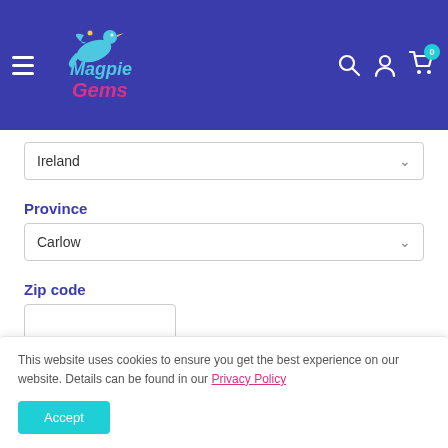[Figure (logo): Magpie Gems logo with stylized bird and colorful text on dark blue header background]
Ireland
Province
Carlow
Zip code
This website uses cookies to ensure you get the best experience on our website. Details can be found in our Privacy Policy
Accept